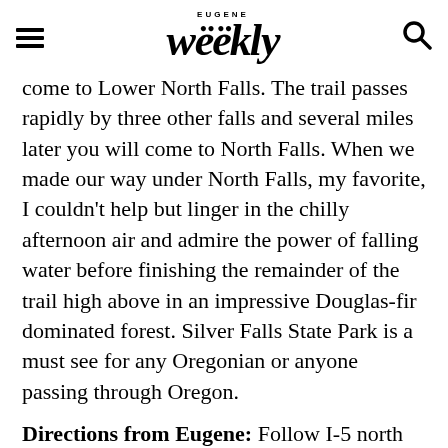Eugene Weekly
come to Lower North Falls. The trail passes rapidly by three other falls and several miles later you will come to North Falls. When we made our way under North Falls, my favorite, I couldn't help but linger in the chilly afternoon air and admire the power of falling water before finishing the remainder of the trail high above in an impressive Douglas-fir dominated forest. Silver Falls State Park is a must see for any Oregonian or anyone passing through Oregon.
Directions from Eugene: Follow I-5 north for 60 miles, turn right onto Hwy. 22 East, follow for